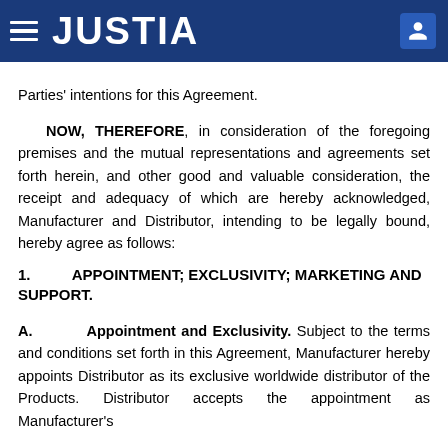JUSTIA
Parties' intentions for this Agreement.
NOW, THEREFORE, in consideration of the foregoing premises and the mutual representations and agreements set forth herein, and other good and valuable consideration, the receipt and adequacy of which are hereby acknowledged, Manufacturer and Distributor, intending to be legally bound, hereby agree as follows:
1. APPOINTMENT; EXCLUSIVITY; MARKETING AND SUPPORT.
A. Appointment and Exclusivity. Subject to the terms and conditions set forth in this Agreement, Manufacturer hereby appoints Distributor as its exclusive worldwide distributor of the Products. Distributor accepts the appointment as Manufacturer's